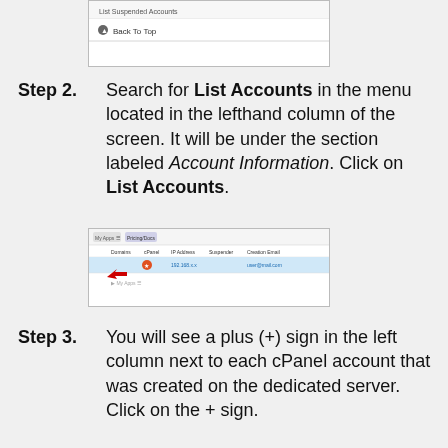[Figure (screenshot): Screenshot of a menu showing 'List Suspended Accounts' and a 'Back To Top' button]
Step 2. Search for List Accounts in the menu located in the lefthand column of the screen. It will be under the section labeled Account Information. Click on List Accounts.
[Figure (screenshot): Screenshot showing a table with account listing, columns for Domains, cPanel, IP Address, Suspender, Creation Email, with a red arrow pointing to a row]
Step 3. You will see a plus (+) sign in the left column next to each cPanel account that was created on the dedicated server. Click on the + sign.